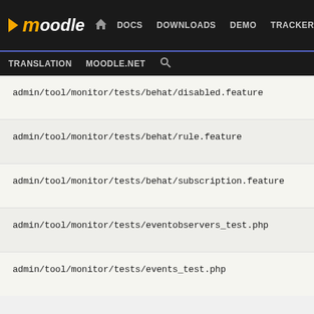Moodle | DOCS DOWNLOADS DEMO TRACKER DEV | TRANSLATION MOODLE.NET
admin/tool/monitor/tests/behat/disabled.feature
admin/tool/monitor/tests/behat/rule.feature
admin/tool/monitor/tests/behat/subscription.feature
admin/tool/monitor/tests/eventobservers_test.php
admin/tool/monitor/tests/events_test.php